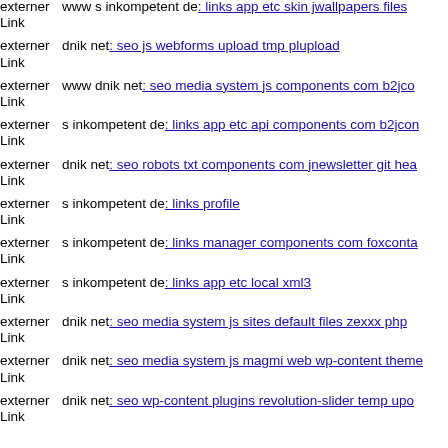externer Link   www s inkompetent de: links app etc skin jwallpapers files
externer Link   dnik net: seo js webforms upload tmp plupload
externer Link   www dnik net: seo media system js components com b2jco
externer Link   s inkompetent de: links app etc api components com b2jcon
externer Link   dnik net: seo robots txt components com jnewsletter git hea
externer Link   s inkompetent de: links profile
externer Link   s inkompetent de: links manager components com foxconta
externer Link   s inkompetent de: links app etc local xml3
externer Link   dnik net: seo media system js sites default files zexxx php
externer Link   dnik net: seo media system js magmi web wp-content theme
externer Link   dnik net: seo wp-content plugins revolution-slider temp upo